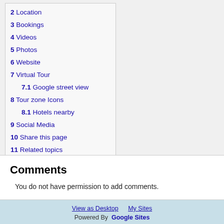2 Location
3 Bookings
4 Videos
5 Photos
6 Website
7 Virtual Tour
7.1 Google street view
8 Tour zone Icons
8.1 Hotels nearby
9 Social Media
10 Share this page
11 Related topics
12 Feedback / faults
Comments
You do not have permission to add comments.
View as Desktop   My Sites
Powered By  Google Sites